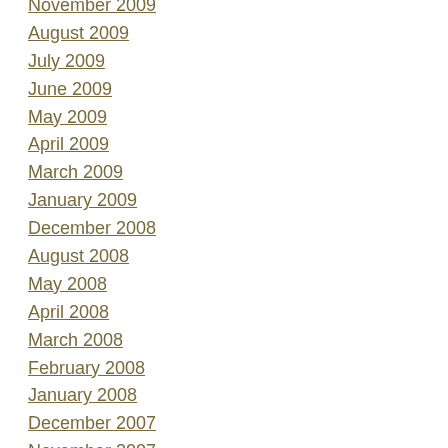November 2009
August 2009
July 2009
June 2009
May 2009
April 2009
March 2009
January 2009
December 2008
August 2008
May 2008
April 2008
March 2008
February 2008
January 2008
December 2007
November 2007